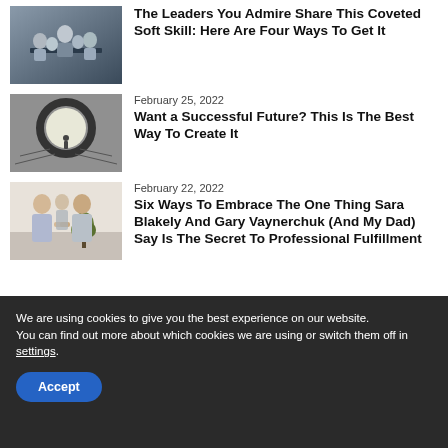[Figure (photo): Business meeting with people around a table, presenter standing]
The Leaders You Admire Share This Coveted Soft Skill: Here Are Four Ways To Get It
[Figure (photo): Small figure walking through a circular doorway of light in a dark, maze-like landscape]
February 25, 2022
Want a Successful Future? This Is The Best Way To Create It
[Figure (photo): Two men shaking hands while a third person watches in background]
February 22, 2022
Six Ways To Embrace The One Thing Sara Blakely And Gary Vaynerchuk (And My Dad) Say Is The Secret To Professional Fulfillment
We are using cookies to give you the best experience on our website.
You can find out more about which cookies we are using or switch them off in settings.
Accept